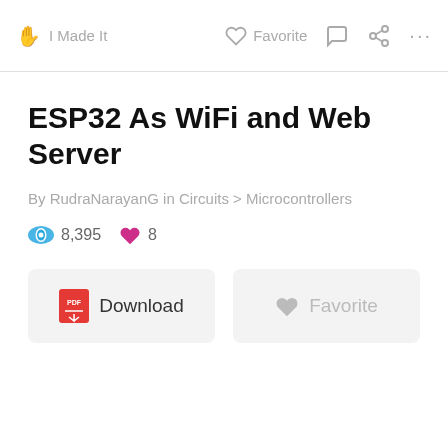I Made It   Favorite   ... ...
ESP32 As WiFi and Web Server
By RudraNarayanG in Circuits > Microcontrollers
8,395 views   8 favorites
Download   Favorite